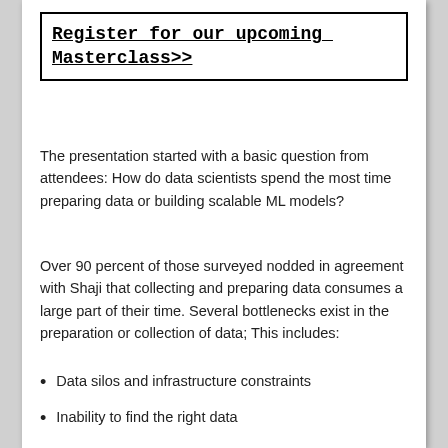Register for our upcoming Masterclass>>
The presentation started with a basic question from attendees: How do data scientists spend the most time preparing data or building scalable ML models?
Over 90 percent of those surveyed nodded in agreement with Shaji that collecting and preparing data consumes a large part of their time. Several bottlenecks exist in the preparation or collection of data; This includes:
Data silos and infrastructure constraints
Inability to find the right data
The repeated effort to engineer features
The data is not clean
Inability to handle streaming data
Lack of data protection of personally identifiable information (PII)